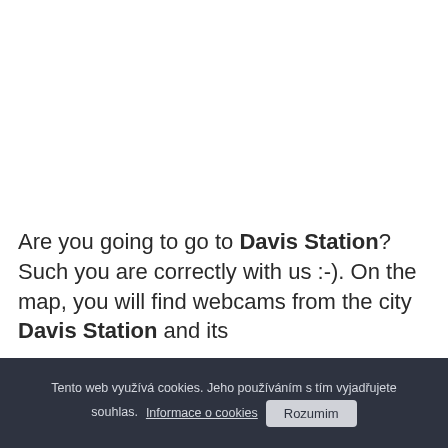Are you going to go to Davis Station? Such you are correctly with us :-). On the map, you will find webcams from the city Davis Station and its
Tento web využívá cookies. Jeho používáním s tím vyjadřujete souhlas. Informace o cookies   Rozumim